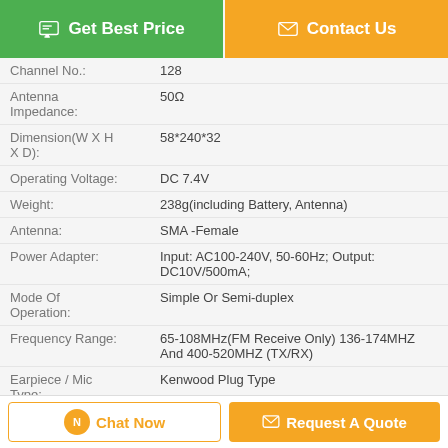[Figure (screenshot): Green 'Get Best Price' button and orange 'Contact Us' button at top]
| Property | Value |
| --- | --- |
| Channel No.: | 128 |
| Antenna Impedance: | 50Ω |
| Dimension(W X H X D): | 58*240*32 |
| Operating Voltage: | DC 7.4V |
| Weight: | 238g(including Battery, Antenna) |
| Antenna: | SMA -Female |
| Power Adapter: | Input: AC100-240V, 50-60Hz; Output: DC10V/500mA; |
| Mode Of Operation: | Simple Or Semi-duplex |
| Frequency Range: | 65-108MHz(FM Receive Only) 136-174MHZ And 400-520MHZ (TX/RX) |
| Earpiece / Mic Type: | Kenwood Plug Type |
[Figure (screenshot): Bottom bar with orange-outlined 'Chat Now' button and orange 'Request A Quote' button]